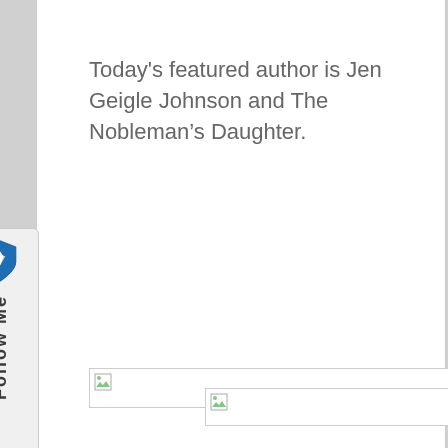Today's featured author is Jen Geigle Johnson and The Nobleman's Daughter.
[Figure (other): Broken image placeholder (wide, spanning full content width)]
[Figure (other): Broken image placeholder (narrower, partial width)]